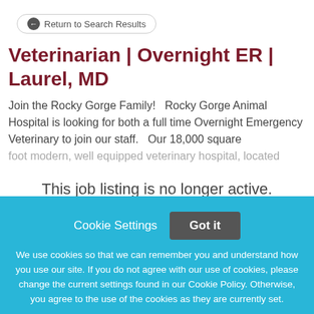Return to Search Results
Veterinarian | Overnight ER | Laurel, MD
Join the Rocky Gorge Family!   Rocky Gorge Animal Hospital is looking for both a full time Overnight Emergency Veterinary to join our staff.   Our 18,000 square foot modern, well equipped veterinary hospital, located
This job listing is no longer active.
Cookie Settings
Got it
We use cookies so that we can remember you and understand how you use our site. If you do not agree with our use of cookies, please change the current settings found in our Cookie Policy. Otherwise, you agree to the use of the cookies as they are currently set.